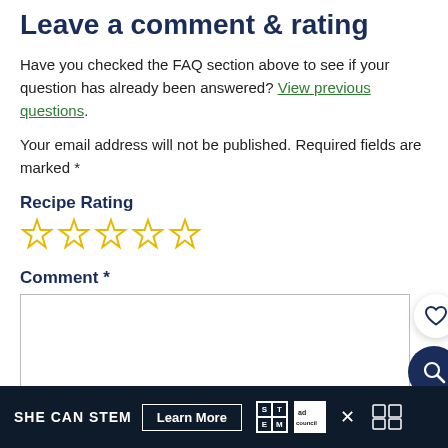Leave a comment & rating
Have you checked the FAQ section above to see if your question has already been answered? View previous questions.
Your email address will not be published. Required fields are marked *
Recipe Rating
[Figure (other): Five empty star rating icons in yellow/gold outline]
Comment *
[Figure (other): Empty comment text area input box]
[Figure (other): Floating action buttons: white heart button and dark navy search button]
SHE CAN STEM  Learn More  [STEM logo] [Ad Council logo]